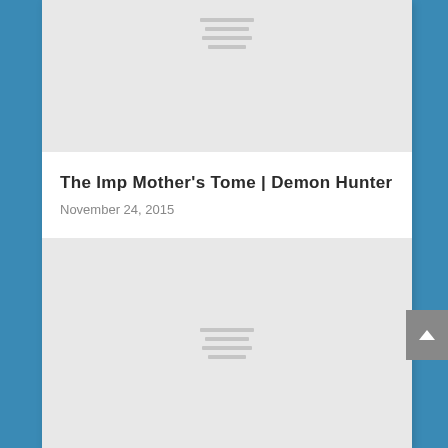[Figure (illustration): Top image placeholder with gray background and horizontal lines icon in center-top area]
The Imp Mother's Tome | Demon Hunter
November 24, 2015
[Figure (illustration): Bottom image placeholder with gray background and horizontal lines icon in center area]